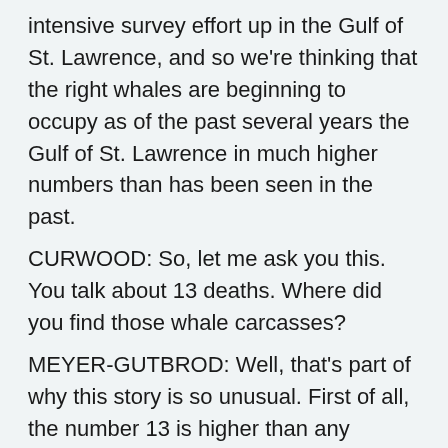intensive survey effort up in the Gulf of St. Lawrence, and so we're thinking that the right whales are beginning to occupy as of the past several years the Gulf of St. Lawrence in much higher numbers than has been seen in the past.
CURWOOD: So, let me ask you this. You talk about 13 deaths. Where did you find those whale carcasses?
MEYER-GUTBROD: Well, that's part of why this story is so unusual. First of all, the number 13 is higher than any previous year in terms of carcasses found, and, with a population that only has about 500 hundred, 13 is more than two percent. So, this year seeing 13, and then 10 of them are up in the Gulf of St Lawrence, this is completely unprecedented.
CURWOOD: So, of the 13 Northern right whale